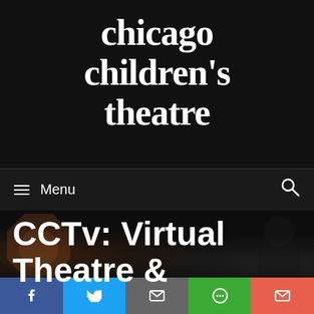[Figure (logo): Chicago Children's Theatre logo - white text on black background, stylized serif font]
Menu
CCTv: Virtual Theatre &
[Figure (infographic): Social sharing bar at the bottom with Facebook, Twitter, Email, SMS, and Envelope icons]